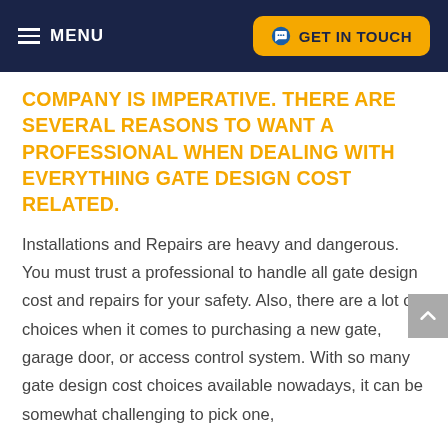MENU | GET IN TOUCH
COMPANY IS IMPERATIVE. THERE ARE SEVERAL REASONS TO WANT A PROFESSIONAL WHEN DEALING WITH EVERYTHING GATE DESIGN COST RELATED.
Installations and Repairs are heavy and dangerous. You must trust a professional to handle all gate design cost and repairs for your safety. Also, there are a lot of choices when it comes to purchasing a new gate, garage door, or access control system. With so many gate design cost choices available nowadays, it can be somewhat challenging to pick one,